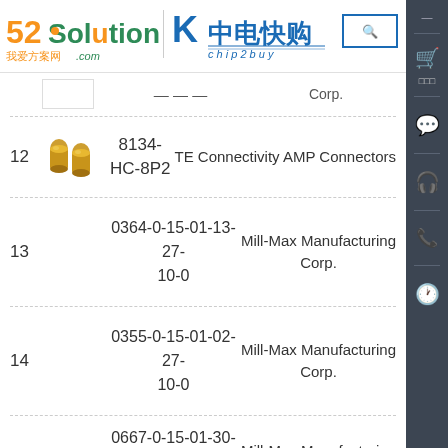52Solution 我爱方案网.com | 中电快购 chip2buy
| # | Image | Part Number | Manufacturer |
| --- | --- | --- | --- |
| 12 | [image] | 8134-HC-8P2 | TE Connectivity AMP Connectors |
| 13 |  | 0364-0-15-01-13-27-10-0 | Mill-Max Manufacturing Corp. |
| 14 |  | 0355-0-15-01-02-27-10-0 | Mill-Max Manufacturing Corp. |
| 15 |  | 0667-0-15-01-30-27-10-0 | Mill-Max Manufacturing Corp. |